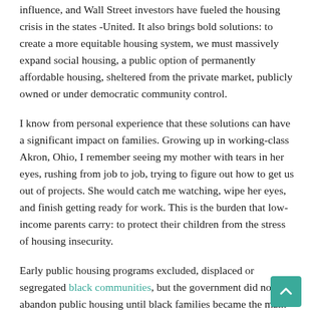influence, and Wall Street investors have fueled the housing crisis in the states -United. It also brings bold solutions: to create a more equitable housing system, we must massively expand social housing, a public option of permanently affordable housing, sheltered from the private market, publicly owned or under democratic community control.
I know from personal experience that these solutions can have a significant impact on families. Growing up in working-class Akron, Ohio, I remember seeing my mother with tears in her eyes, rushing from job to job, trying to figure out how to get us out of projects. She would catch me watching, wipe her eyes, and finish getting ready for work. This is the burden that low-income parents carry: to protect their children from the stress of housing insecurity.
Early public housing programs excluded, displaced or segregated black communities, but the government did not abandon public housing until black families became the main beneficiaries of the program after decades of systemic